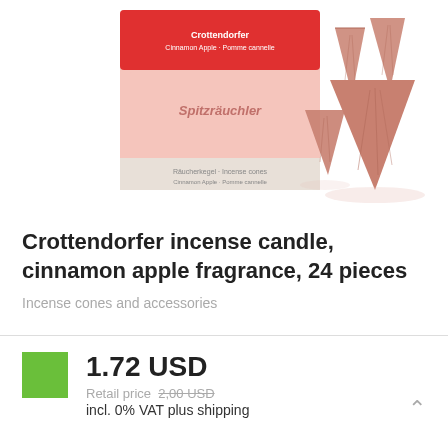[Figure (photo): Product photo showing a red box of Crottendorfer incense candles with cinnamon apple fragrance, and several cone-shaped incense pieces arranged next to it]
Crottendorfer incense candle, cinnamon apple fragrance, 24 pieces
Incense cones and accessories
1.72 USD
Retail price 2,00 USD
incl. 0% VAT plus shipping